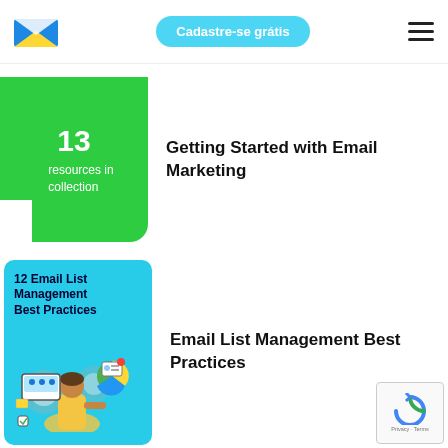[Figure (logo): Brevo/Sendinblue email envelope logo in blue and yellow]
Cadastre-se grátis
[Figure (illustration): Green card thumbnail showing '13' and 'resources in collection']
Getting Started with Email Marketing
[Figure (illustration): Light blue card thumbnail with text '12 Email List Management Best Practices' and an illustration of a woman with email management icons]
Email List Management Best Practices
[Figure (other): reCAPTCHA badge with Privacy and Terms links]